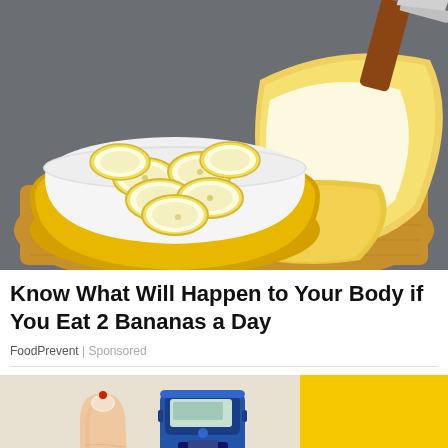[Figure (photo): Photo of sliced bananas in a yellow bowl on a wooden cutting board, with a peeled banana and a knife visible in the background on a dark surface.]
Know What Will Happen to Your Body if You Eat 2 Bananas a Day
FoodPrevent | Sponsored
[Figure (photo): Partial photo showing a finger being pricked for blood sugar testing with a glucometer, with a yellow background on the right side.]